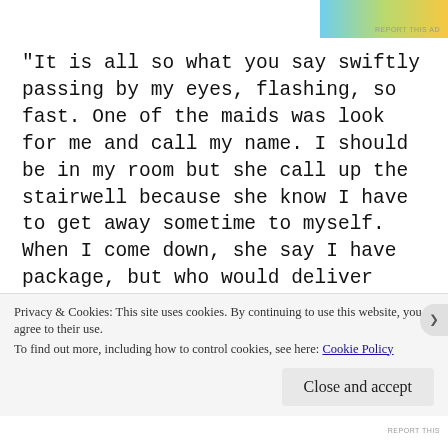[Figure (other): Advertisement banner at top with gradient colors (blue, green, yellow)]
"It is all so what you say swiftly passing by my eyes, flashing, so fast. One of the maids was look for me and call my name. I should be in my room but she call up the stairwell because she know I have to get away sometime to myself. When I come down, she say I have package, but who would deliver package at that time at night, and before she say any more, loud noise come from front door near where we are stand and men with guns in long coats and hats pulled down over eyes, red kerchiefs over faces, some with racing goggles, rush in
Privacy & Cookies: This site uses cookies. By continuing to use this website, you agree to their use.
To find out more, including how to control cookies, see here: Cookie Policy